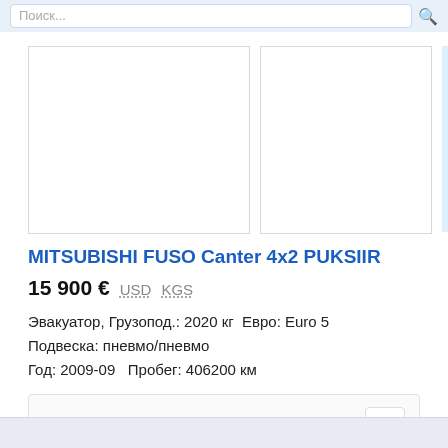Search bar with input field
[Figure (photo): Three vehicle image placeholders: two white boxes with borders and one light blue box with Russian text 'Смотр фотогра' (View photos)]
MITSUBISHI FUSO Canter 4x2 PUKSIIR
15 900 €  USD  KGS
Эвакуатор, Грузопод.: 2020 кг  Евро: Euro 5
Подвеска: пневмо/пневмо
Год: 2009-09   Пробег: 406200 км
Эстония, Maardu